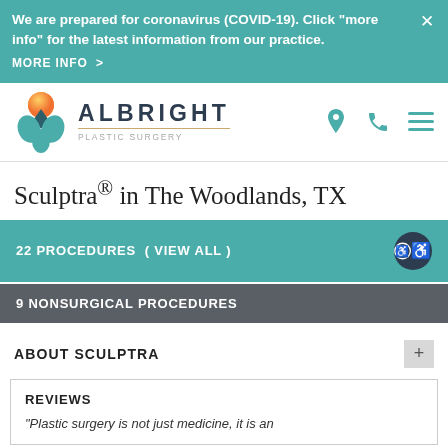We are prepared for coronavirus (COVID-19). Click "more info" for the latest information from our practice. MORE INFO >
[Figure (logo): Albright Plastic Surgery logo with teal and orange leaf/diamond design and wordmark]
Sculptra® in The Woodlands, TX
22 PROCEDURES ( VIEW ALL )
9 NONSURGICAL PROCEDURES
ABOUT SCULPTRA
REVIEWS
"Plastic surgery is not just medicine, it is an